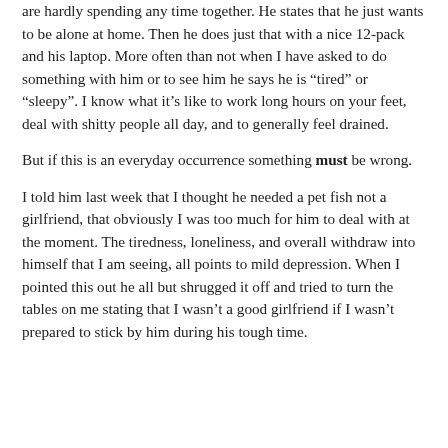are hardly spending any time together. He states that he just wants to be alone at home. Then he does just that with a nice 12-pack and his laptop. More often than not when I have asked to do something with him or to see him he says he is “tired” or “sleepy”. I know what it’s like to work long hours on your feet, deal with shitty people all day, and to generally feel drained.
But if this is an everyday occurrence something must be wrong.
I told him last week that I thought he needed a pet fish not a girlfriend, that obviously I was too much for him to deal with at the moment. The tiredness, loneliness, and overall withdraw into himself that I am seeing, all points to mild depression. When I pointed this out he all but shrugged it off and tried to turn the tables on me stating that I wasn’t a good girlfriend if I wasn’t prepared to stick by him during his tough time.